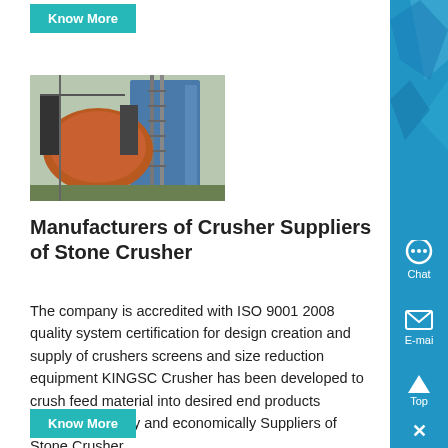Know More
[Figure (photo): Industrial stone crusher machinery with orange drum and scaffolding structure]
Manufacturers of Crusher Suppliers of Stone Crusher
The company is accredited with ISO 9001 2008 quality system certification for design creation and supply of crushers screens and size reduction equipment KINGSC Crusher has been developed to crush feed material into desired end products efficiently reliably and economically Suppliers of Stone Crusher...
Know More